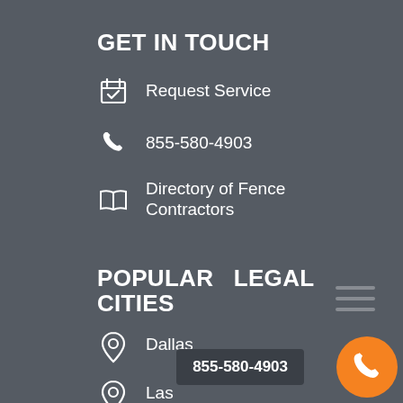GET IN TOUCH
Request Service
855-580-4903
Directory of Fence Contractors
POPULAR LEGAL CITIES
Dallas
Las Vegas
Chicago
Boston
Miami
855-580-4903